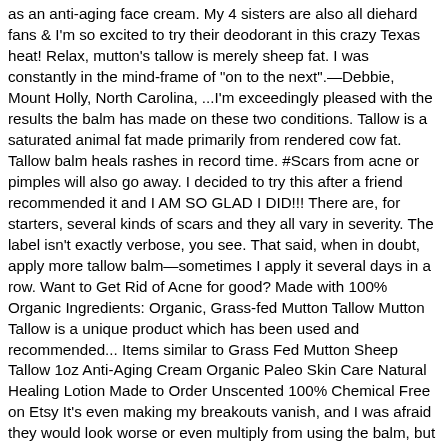as an anti-aging face cream. My 4 sisters are also all diehard fans & I'm so excited to try their deodorant in this crazy Texas heat! Relax, mutton's tallow is merely sheep fat. I was constantly in the mind-frame of "on to the next".—Debbie, Mount Holly, North Carolina, ...I'm exceedingly pleased with the results the balm has made on these two conditions. Tallow is a saturated animal fat made primarily from rendered cow fat. Tallow balm heals rashes in record time. #Scars from acne or pimples will also go away. I decided to try this after a friend recommended it and I AM SO GLAD I DID!!! There are, for starters, several kinds of scars and they all vary in severity. The label isn't exactly verbose, you see. That said, when in doubt, apply more tallow balm—sometimes I apply it several days in a row. Want to Get Rid of Acne for good? Made with 100% Organic Ingredients: Organic, Grass-fed Mutton Tallow Mutton Tallow is a unique product which has been used and recommended... Items similar to Grass Fed Mutton Sheep Tallow 1oz Anti-Aging Cream Organic Paleo Skin Care Natural Healing Lotion Made to Order Unscented 100% Chemical Free on Etsy It's even making my breakouts vanish, and I was afraid they would look worse or even multiply from using the balm, but they do not. It is neither greasy nor sticky despite the fact that it is made of mutton's tallow. Please do yourself a favor and try tallow balm. Anoint the scars with warmed up mutton tallow or lanolin, preferably in the evening, before going to bed. Traditional Nourishing and Healing Skin Care, Traditional Wisdom On Tallow Confirmed By Science. They have really an amazing deals on the best lotions, creams, facial...